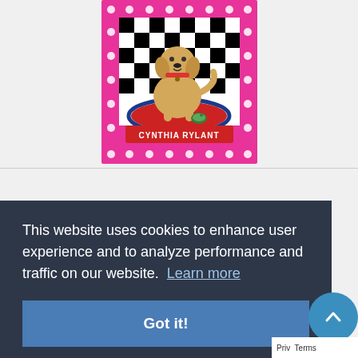[Figure (illustration): Book cover illustration showing a yellow Labrador dog sitting on a red mat with a black and white checkerboard background, pink border with white dots. Author name 'CYNTHIA RYLANT' shown on a red banner at the bottom of the cover.]
This website uses cookies to enhance user experience and to analyze performance and traffic on our website.  Learn more
Got it!